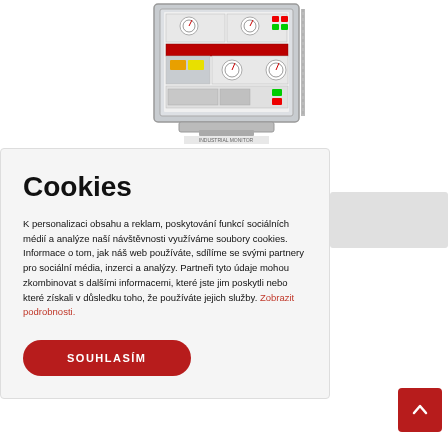[Figure (photo): Industrial monitor/display panel showing gauges, dials, and colored status indicators on screen, with a metal enclosure]
Cookies
K personalizaci obsahu a reklam, poskytování funkcí sociálních médií a analýze naší návštěvnosti využíváme soubory cookies. Informace o tom, jak náš web používáte, sdílíme se svými partnery pro sociální média, inzerci a analýzy. Partneři tyto údaje mohou zkombinovat s dalšími informacemi, které jste jim poskytli nebo které získali v důsledku toho, že používáte jejich služby. Zobrazit podrobnosti.
SOUHLASÍM